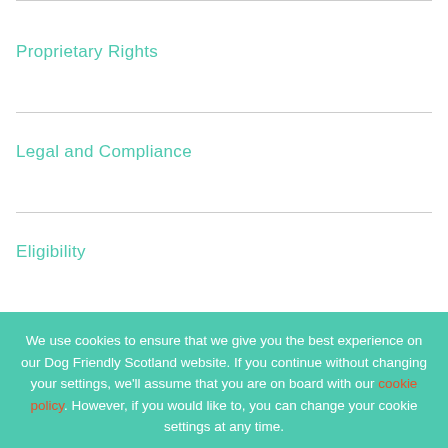Proprietary Rights
Legal and Compliance
Eligibility
We use cookies to ensure that we give you the best experience on our Dog Friendly Scotland website. If you continue without changing your settings, we'll assume that you are on board with our cookie policy. However, if you would like to, you can change your cookie settings at any time.